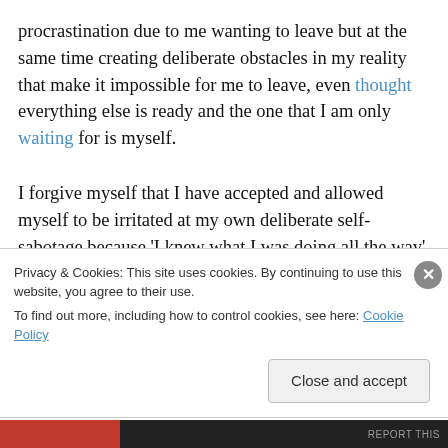procrastination due to me wanting to leave but at the same time creating deliberate obstacles in my reality that make it impossible for me to leave, even thought everything else is ready and the one that I am only waiting for is myself.
I forgive myself that I have accepted and allowed myself to be irritated at my own deliberate self-sabotage because 'I knew what I was doing all the way' and I didn't stop, which places into perspective the actual Evil that we are and do to ourselves in order to make our lives more complicated
Privacy & Cookies: This site uses cookies. By continuing to use this website, you agree to their use.
To find out more, including how to control cookies, see here: Cookie Policy
Close and accept